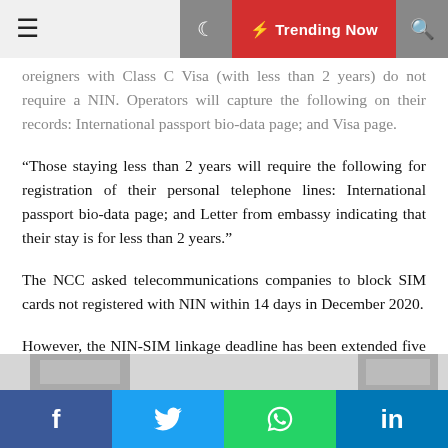≡  ☾  ⚡ Trending Now  🔍
…Foreigners with Class C Visa (with less than 2 years) do not require a NIN. Operators will capture the following on their records: International passport bio-data page; and Visa page.
“Those staying less than 2 years will require the following for registration of their personal telephone lines: International passport bio-data page; and Letter from embassy indicating that their stay is for less than 2 years.”
The NCC asked telecommunications companies to block SIM cards not registered with NIN within 14 days in December 2020.
However, the NIN-SIM linkage deadline has been extended five times since the initial announcement.
f  🐦  WhatsApp  in